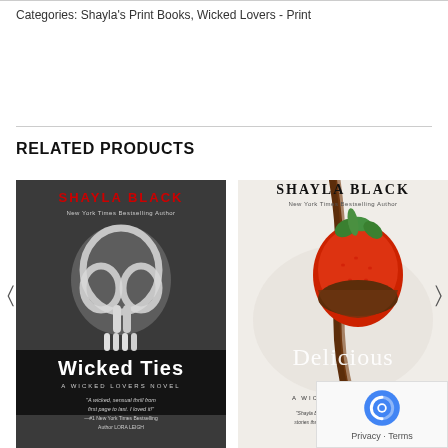Categories: Shayla's Print Books, Wicked Lovers - Print
RELATED PRODUCTS
[Figure (photo): Book cover: Wicked Ties by Shayla Black. Dark background with white rope/tassel knot. Text reads 'SHAYLA BLACK New York Times Bestselling Author' at top in red, 'Wicked Ties A WICKED LOVERS NOVEL' at bottom, with quote from Lora Leigh.]
[Figure (photo): Book cover: Delicious by Shayla Black. Light background with chocolate-dipped strawberry. Text reads 'SHAYLA BLACK New York Times Bestselling Author' at top, 'Delicious A WICKED LOVERS NOVEL' at bottom, with a quote.]